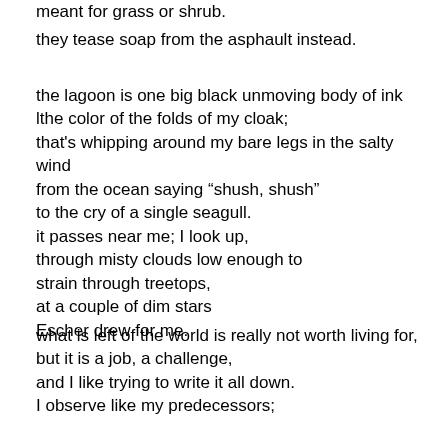meant for grass or shrub.
they tease soap from the asphault instead.
the lagoon is one big black unmoving body of ink
lthe color of the folds of my cloak;
that's whipping around my bare legs in the salty wind
from the ocean saying “shush, shush”
to the cry of a single seagull.
it passes near me; I look up,
through misty clouds low enough to
strain through treetops,
at a couple of dim stars
Escher drew for me.
what is left of the world is really not worth living for,
but it is a job, a challenge,
and I like trying to write it all down.
I observe like my predecessors;